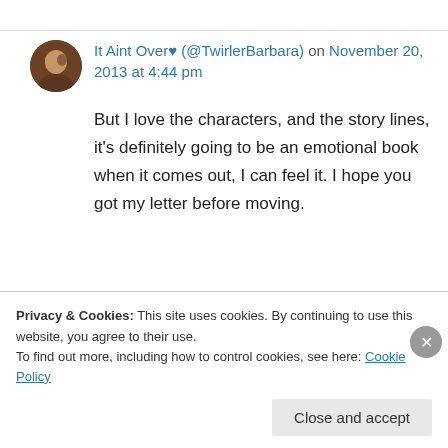It Aint Over♥ (@TwirlerBarbara) on November 20, 2013 at 4:44 pm
But I love the characters, and the story lines, it's definitely going to be an emotional book when it comes out, I can feel it. I hope you got my letter before moving.
↳ Reply
Privacy & Cookies: This site uses cookies. By continuing to use this website, you agree to their use. To find out more, including how to control cookies, see here: Cookie Policy
Close and accept